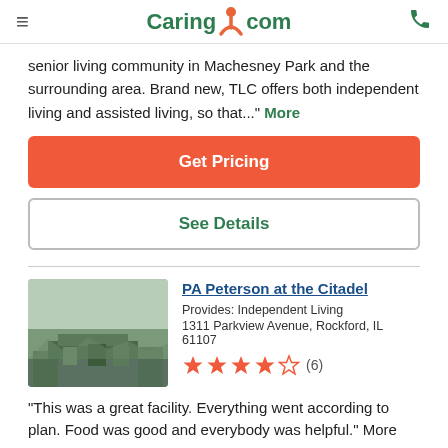Caring.com
senior living community in Machesney Park and the surrounding area. Brand new, TLC offers both independent living and assisted living, so that..." More
Get Pricing
See Details
PA Peterson at the Citadel
Provides: Independent Living
1311 Parkview Avenue, Rockford, IL 61107
(6) stars rating
"This was a great facility. Everything went according to plan. Food was good and everybody was helpful." More